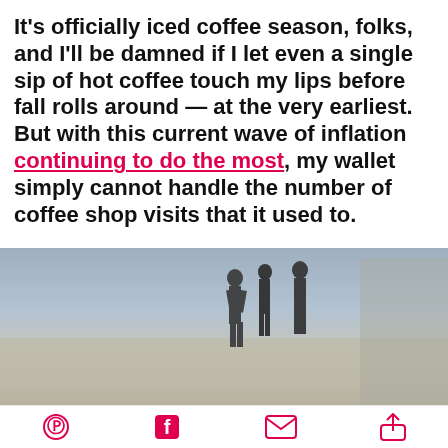It's officially iced coffee season, folks, and I'll be damned if I let even a single sip of hot coffee touch my lips before fall rolls around — at the very earliest. But with this current wave of inflation continuing to do the most, my wallet simply cannot handle the number of coffee shop visits that it used to.
[Figure (photo): Blurred street scene with pedestrian silhouettes, overlaid with orange banner text reading 'this cost $7.00 😭 (and let's be real, it's mostly ice.)']
Social share icons: Pinterest, Facebook, Email, Share